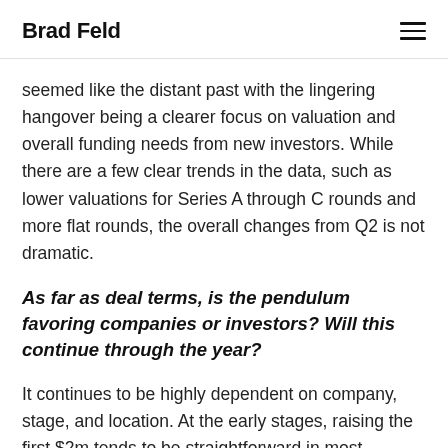Brad Feld
seemed like the distant past with the lingering hangover being a clearer focus on valuation and overall funding needs from new investors. While there are a few clear trends in the data, such as lower valuations for Series A through C rounds and more flat rounds, the overall changes from Q2 is not dramatic.
As far as deal terms, is the pendulum favoring companies or investors? Will this continue through the year?
It continues to be highly dependent on company, stage, and location. At the early stages, raising the first $2m tends to be straightforward in most